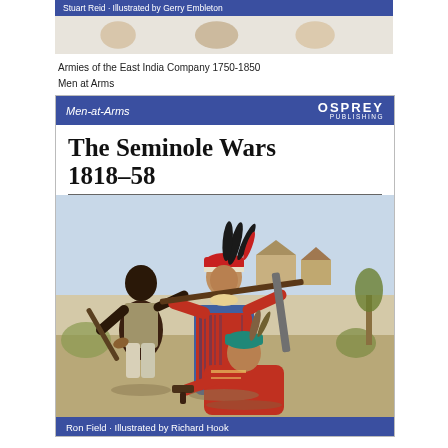[Figure (illustration): Top portion of another Osprey Men-at-Arms book cover: Armies of the East India Company 1750-1850, illustrated by Gerry Embleton, with blue banner]
Armies of the East India Company 1750-1850
Men at Arms
[Figure (illustration): Main Osprey Men-at-Arms book cover: The Seminole Wars 1818-58 by Ron Field, illustrated by Richard Hook. Shows three figures - an African American man holding a musket, a Native American warrior in red coat and feathered cap holding a rifle, and a seated Native American figure in red garment holding a pistol. Background shows frontier settlement.]
Ron Field · Illustrated by Richard Hook